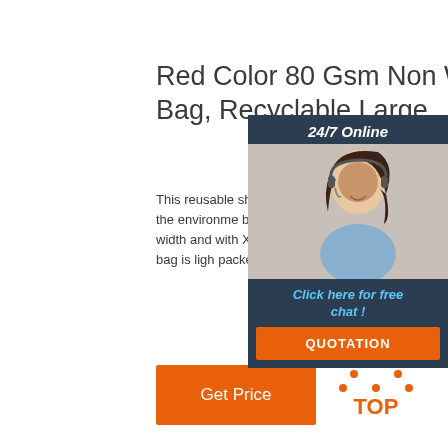Red Color 80 Gsm Non Woven Tote Bag, Recyclable Large .
This reusable shopping bag is of 85gsm RPET non woven,and eco friendly to the environment; bag is great for shopping,daily promotional ; The handle is 2 width and with X sewing to reinforce,which allow you to carry heavy things . This bag is light packed and not take you much p
[Figure (other): Orange 'Get Price' button]
[Figure (other): Customer service chat panel overlay with woman wearing headset, '24/7 Online' header, 'Click here for free chat!' link, and 'QUOTATION' button]
[Figure (logo): Orange and dark 'TOP' logo with dot triangle above text]